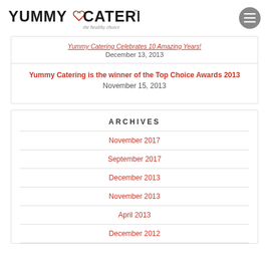Yummy Catering – the healthy choice
Yummy Catering Celebrates 10 Amazing Years! December 13, 2013
Yummy Catering is the winner of the Top Choice Awards 2013 November 15, 2013
ARCHIVES
November 2017
September 2017
December 2013
November 2013
April 2013
December 2012